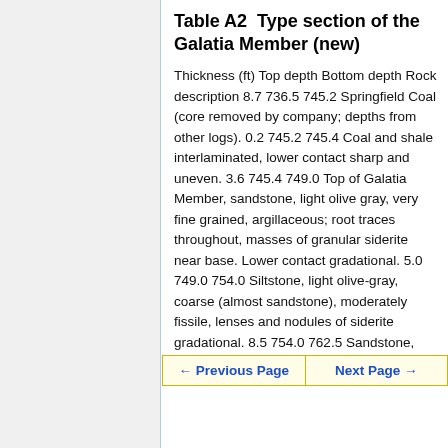Table A2  Type section of the Galatia Member (new)
Thickness (ft) Top depth Bottom depth Rock description 8.7 736.5 745.2 Springfield Coal (core removed by company; depths from other logs). 0.2 745.2 745.4 Coal and shale interlaminated, lower contact sharp and uneven. 3.6 745.4 749.0 Top of Galatia Member, sandstone, light olive gray, very fine grained, argillaceous; root traces throughout, masses of granular siderite near base. Lower contact gradational. 5.0 749.0 754.0 Siltstone, light olive-gray, coarse (almost sandstone), moderately fissile, lenses and nodules of siderite gradational. 8.5 754.0 762.5 Sandstone, medium-light gray, very fine grained,